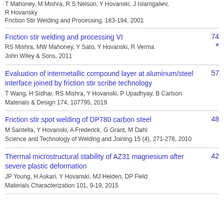T Mahoney, M Mishra, R S Nelson, Y Hovanski, J Islamgaliev, R Hovansky
Friction Stir Welding and Processing, 183-194, 2001
Friction stir welding and processing VI
RS Mishra, MW Mahoney, Y Sato, Y Hovanski, R Verma
John Wiley & Sons, 2011
74 *
Evaluation of intermetallic compound layer at aluminum/steel interface joined by friction stir scribe technology
T Wang, H Sidhar, RS Mishra, Y Hovanski, P Upadhyay, B Carlson
Materials & Design 174, 107795, 2019
57
Friction stir spot welding of DP780 carbon steel
M Santella, Y Hovanski, A Frederick, G Grant, M Dahl
Science and Technology of Welding and Joining 15 (4), 271-278, 2010
48
Thermal microstructural stability of AZ31 magnesium after severe plastic deformation
JP Young, H Askari, Y Hovanski, MJ Heiden, DP Field
Materials Characterization 101, 9-19, 2015
42